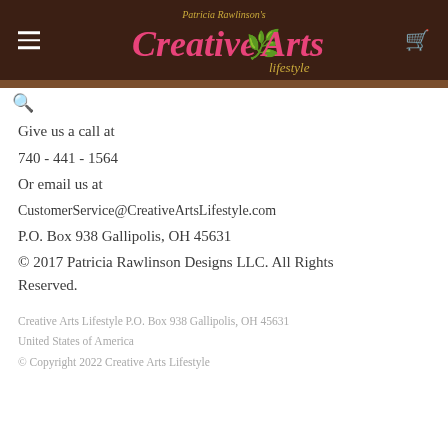Patricia Rawlinson's Creative Arts Lifestyle
[Figure (logo): Patricia Rawlinson's Creative Arts Lifestyle logo in pink cursive lettering with butterfly motif on dark brown background]
Give us a call at
740 - 441 - 1564
Or email us at
CustomerService@CreativeArtsLifestyle.com
P.O. Box 938 Gallipolis, OH 45631
© 2017 Patricia Rawlinson Designs LLC. All Rights Reserved.
Creative Arts Lifestyle P.O. Box 938 Gallipolis, OH 45631
United States of America
© Copyright 2022 Creative Arts Lifestyle